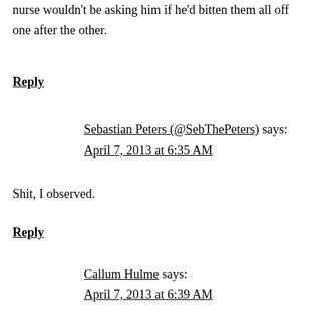nurse wouldn't be asking him if he'd bitten them all off one after the other.
Reply
Sebastian Peters (@SebThePeters) says:
April 7, 2013 at 6:35 AM
Shit, I observed.
Reply
Callum Hulme says:
April 7, 2013 at 6:39 AM
I'd never been one for funerals, much less the celebration of life that ensued, and as I sat at the bar morosely observing the